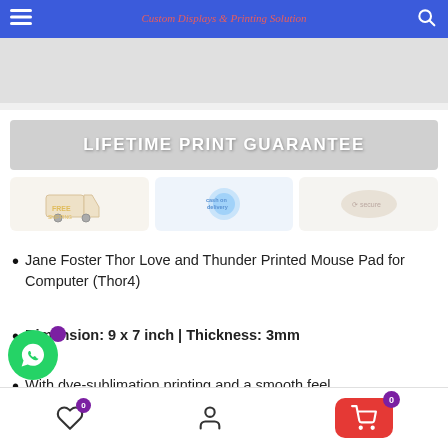Custom Displays & Printing Solution
[Figure (other): Promotional banner image area]
[Figure (infographic): Lifetime Print Guarantee banner with Free Shipping, Cash on Delivery badges]
Jane Foster Thor Love and Thunder Printed Mouse Pad for Computer (Thor4)
Dimension: 9 x 7 inch | Thickness: 3mm
With dye-sublimation printing and a smooth feel.
…chable Design and Fade Prevent Machine…
WhatsApp | Wishlist 0 | Account | Cart 0